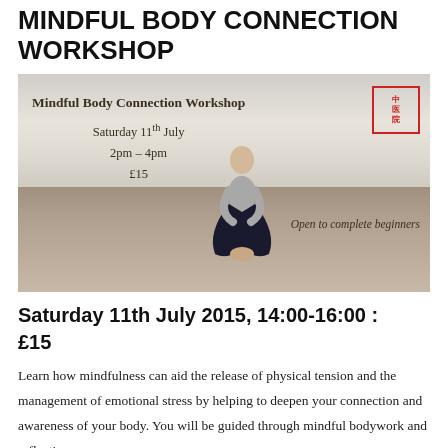MINDFUL BODY CONNECTION WORKSHOP
[Figure (photo): Promotional image for the Mindful Body Connection Workshop showing a woman sitting cross-legged in a meditative pose on a wooden deck with a cloudy sky background. Text overlay reads: 'Mindful Body Connection Workshop, Saturday 11th July, 2pm – 4pm, £15, Open to complete beginners' with a red Chinese stamp logo in the top right corner.]
Saturday 11th July 2015, 14:00-16:00 : £15
Learn how mindfulness can aid the release of physical tension and the management of emotional stress by helping to deepen your connection and awareness of your body. You will be guided through mindful bodywork and reflection